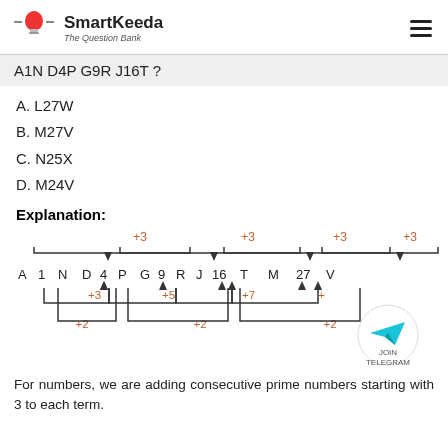SmartKeeda – The Question Bank
A1N D4P G9R J16T ?
A. L27W
B. M27V
C. N25X
D. M24V
Explanation:
[Figure (schematic): Diagram showing the pattern: letters A, N, D, P, G, R, J, T, M, V with +3 letter jumps indicated by downward arrows; numbers 1, 4, 9, 16, 27 with +3, +5, +7, +9 increments shown; and +2 number position jumps shown by upward arrows at bottom.]
For numbers, we are adding consecutive prime numbers starting with 3 to each term.